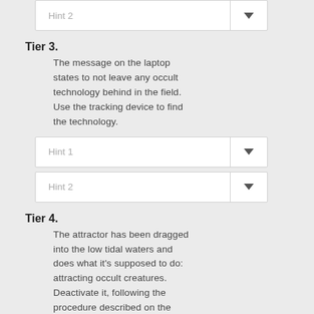[Figure (screenshot): Hint 2 dropdown box at the top (partially cut off)]
Tier 3.
The message on the laptop states to not leave any occult technology behind in the field. Use the tracking device to find the technology.
[Figure (screenshot): Hint 1 dropdown box]
[Figure (screenshot): Hint 2 dropdown box]
Tier 4.
The attractor has been dragged into the low tidal waters and does what it's supposed to do: attracting occult creatures. Deactivate it, following the procedure described on the laptop.
[Figure (screenshot): Hint 1 dropdown box (partially cut off at bottom)]